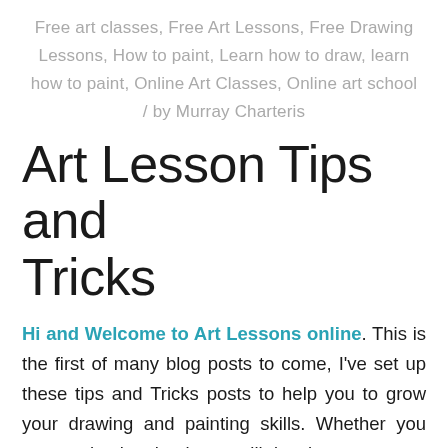Free art classes, Free Art Lessons, Free Drawing Lessons, How to paint, Learn how to draw, learn how to paint, Online Art Classes, Online art school / by Murray Charteris
Art Lesson Tips and Tricks
Hi and Welcome to Art Lessons online. This is the first of many blog posts to come, I've set up these tips and Tricks posts to help you to grow your drawing and painting skills. Whether you are an absolute beginner, still drawing...